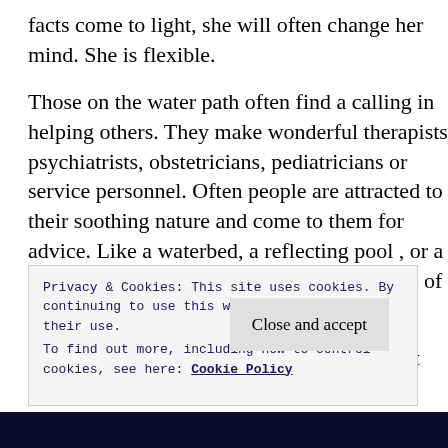initially choose an answer based on intuition. If new facts come to light, she will often change her mind. She is flexible.
Those on the water path often find a calling in helping others. They make wonderful therapists, psychiatrists, obstetricians, pediatricians or service personnel. Often people are attracted to their soothing nature and come to them for advice. Like a waterbed, a reflecting pool , or a relaxing bath, Water Witches project an aura of serenity and comfort.
The Water Witch may be seen as moody, but like the
Privacy & Cookies: This site uses cookies. By continuing to use this website, you agree to their use.
To find out more, including how to control cookies, see here: Cookie Policy